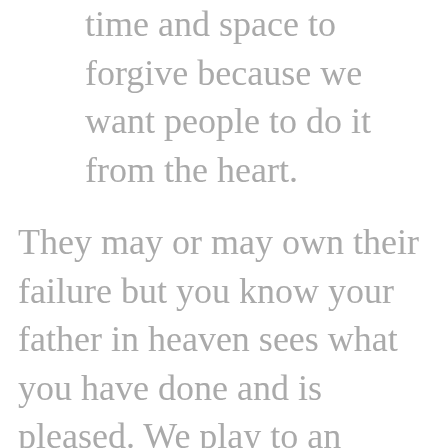time and space to forgive because we want people to do it from the heart.
They may or may own their failure but you know your father in heaven sees what you have done and is pleased. We play to an audience of one! Your conscious is clear and God is glorified.